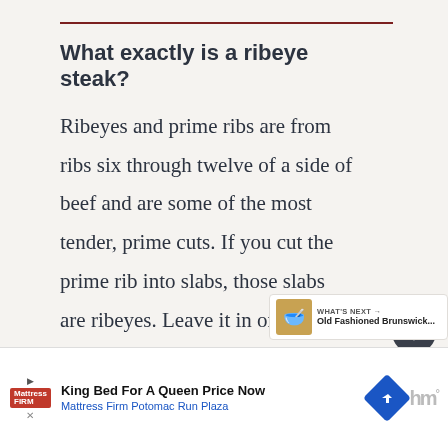What exactly is a ribeye steak?
Ribeyes and prime ribs are from ribs six through twelve of a side of beef and are some of the most tender, prime cuts. If you cut the prime rib into slabs, those slabs are ribeyes. Leave it in one piece and roast it and that's a prim…
WHAT'S NEXT → Old Fashioned Brunswick...
King Bed For A Queen Price Now
Mattress Firm Potomac Run Plaza